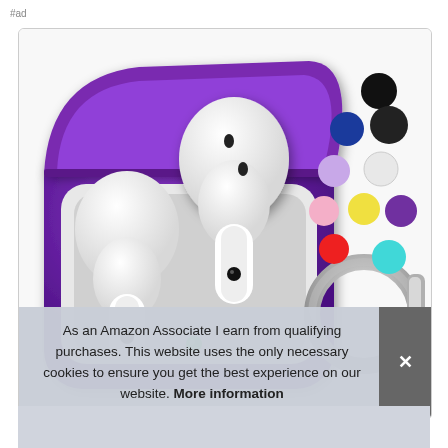#ad
[Figure (photo): Purple silicone AirPods case with white AirPods inside, open lid showing earbuds, green LED indicator, metal carabiner clip on right, and color swatches (black, navy, lavender, white, pink, yellow, red, purple, cyan) in upper right corner]
As an Amazon Associate I earn from qualifying purchases. This website uses the only necessary cookies to ensure you get the best experience on our website. More information